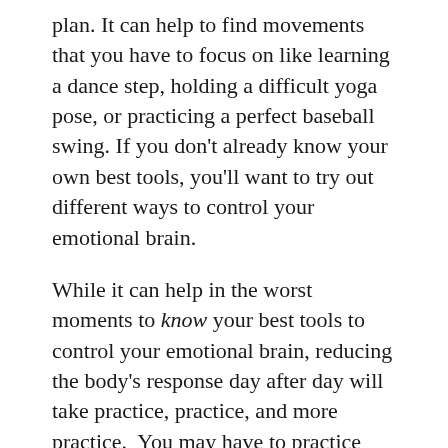plan. It can help to find movements that you have to focus on like learning a dance step, holding a difficult yoga pose, or practicing a perfect baseball swing. If you don't already know your own best tools, you'll want to try out different ways to control your emotional brain.
While it can help in the worst moments to know your best tools to control your emotional brain, reducing the body's response day after day will take practice, practice, and more practice.  You may have to practice using your tools for several days in a row before you feel better and weeks before you feel you have control. The good news is that once you feel you have control, you'll find you get anxious less often.
Reducing anxiety isn't easy, especially these days. You may wonder where you'll find the time to practice using your tools but I'm going to argue that it has to be a priority or your emotional brain could take over and